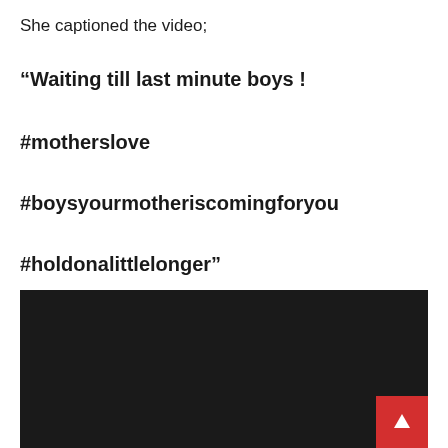She captioned the video;
“Waiting till last minute boys !
#motherslove
#boysyourmotheriscomingforyou
#holdonalittlelonger”
[Figure (screenshot): Dark/black video thumbnail embed]